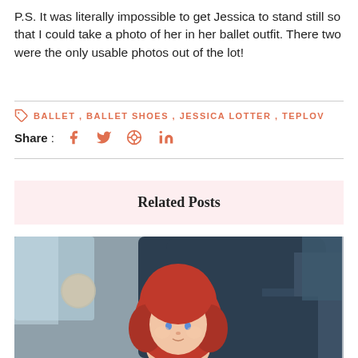P.S. It was literally impossible to get Jessica to stand still so that I could take a photo of her in her ballet outfit. There two were the only usable photos out of the lot!
BALLET, BALLET SHOES, JESSICA LOTTER, TEPLOV
Share : [facebook] [twitter] [pinterest] [linkedin]
Related Posts
[Figure (photo): Baby wearing a red hooded outfit sitting in a car seat, looking at the camera]